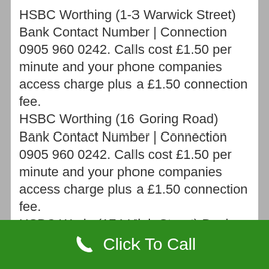HSBC Worthing (1-3 Warwick Street) Bank Contact Number | Connection 0905 960 0242. Calls cost £1.50 per minute and your phone companies access charge plus a £1.50 connection fee. HSBC Worthing (16 Goring Road) Bank Contact Number | Connection 0905 960 0242. Calls cost £1.50 per minute and your phone companies access charge plus a £1.50 connection fee. HSBC Worle (174 High Street) Bank Contact Number | Connection 0905 960 0242. Calls cost £1.50 per minute and your phone companies access charge plus a £1.50 connection fee. HSBC Worksop (23 Bridge Street) Bank Contact Number | Connection 0905 960 0242. Calls cost
Click To Call